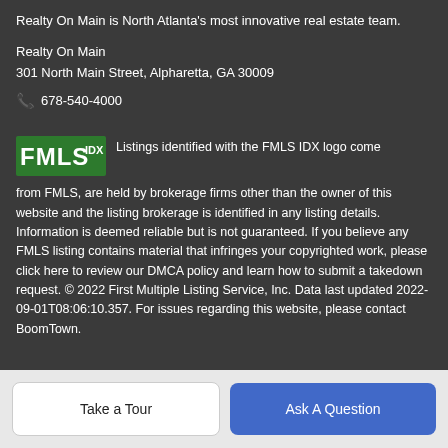Realty On Main is North Atlanta's most innovative real estate team.
Realty On Main
301 North Main Street, Alpharetta, GA 30009
📞 678-540-4000
[Figure (logo): FMLS IDX logo — green rectangle with white FMLS letters and IDX superscript]
Listings identified with the FMLS IDX logo come from FMLS, are held by brokerage firms other than the owner of this website and the listing brokerage is identified in any listing details. Information is deemed reliable but is not guaranteed. If you believe any FMLS listing contains material that infringes your copyrighted work, please click here to review our DMCA policy and learn how to submit a takedown request. © 2022 First Multiple Listing Service, Inc. Data last updated 2022-09-01T08:06:10.357. For issues regarding this website, please contact BoomTown.
Take a Tour
Ask A Question